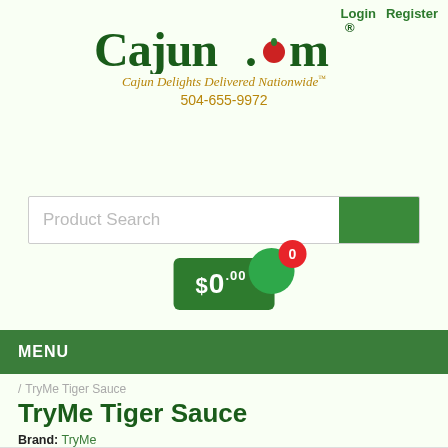Login  Register
[Figure (logo): Cajun.com logo with tomato replacing the 'o', tagline 'Cajun Delights Delivered Nationwide™', phone 504-655-9972]
Product Search
$0.00  0
MENU
/ TryMe Tiger Sauce
TryMe Tiger Sauce
Brand: TryMe
Product Code: 075076100015
UPC Code : 075076100015